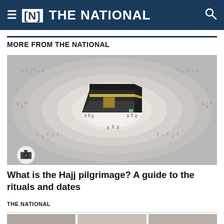≡ [N] THE NATIONAL
MORE FROM THE NATIONAL
[Figure (photo): Aerial photograph of the Kaaba at Masjid al-Haram in Mecca, surrounded by thousands of pilgrims performing Tawaf (circular circumambulation) in concentric rings. The black cube-shaped Kaaba is centered in the image with a large crowd radiating outward.]
What is the Hajj pilgrimage? A guide to the rituals and dates
THE NATIONAL